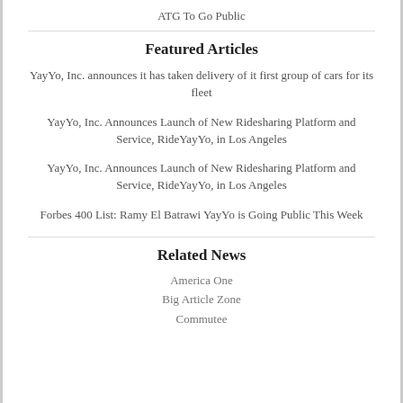ATG To Go Public
Featured Articles
YayYo, Inc. announces it has taken delivery of it first group of cars for its fleet
YayYo, Inc. Announces Launch of New Ridesharing Platform and Service, RideYayYo, in Los Angeles
YayYo, Inc. Announces Launch of New Ridesharing Platform and Service, RideYayYo, in Los Angeles
Forbes 400 List: Ramy El Batrawi YayYo is Going Public This Week
Related News
America One
Big Article Zone
Commutee